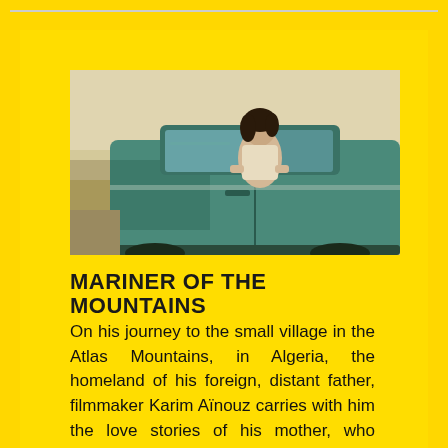[Figure (photo): A vintage photograph of a woman with dark hair leaning against a teal/green classic car on a rural road, muted yellowish tones.]
MARINER OF THE MOUNTAINS
On his journey to the small village in the Atlas Mountains, in Algeria, the homeland of his foreign, distant father, filmmaker Karim Aïnouz carries with him the love stories of his mother, who raised him